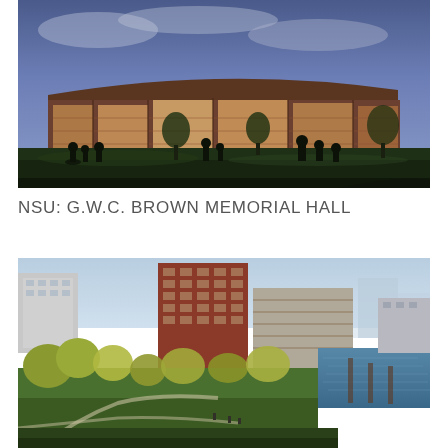[Figure (photo): Exterior evening photo of NSU G.W.C. Brown Memorial Hall, a large modern brick and glass building with students silhouetted on the lawn in front at dusk with a blue-purple sky.]
NSU: G.W.C. BROWN MEMORIAL HALL
[Figure (photo): Aerial daytime photo of an urban campus and waterfront area showing red brick high-rise buildings, a parking garage, green lawns with trees, a river or harbor with a dock, and a city skyline in the background.]